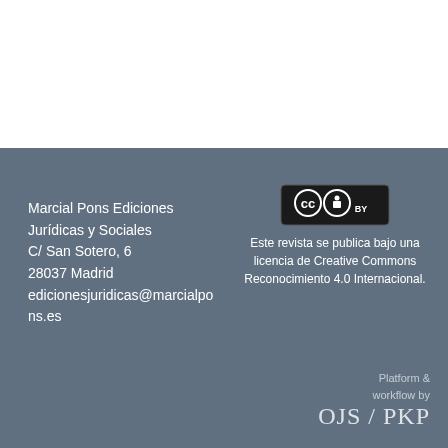Marcial Pons Ediciones Jurídicas y Sociales
C/ San Sotero, 6
28037 Madrid
edicionesjuridicas@marcialpons.es
[Figure (logo): Creative Commons BY license badge]
Este revista se publica bajo una licencia de Creative Commons Reconocimiento 4.0 Internacional.
Platform & workflow by
OJS / PKP